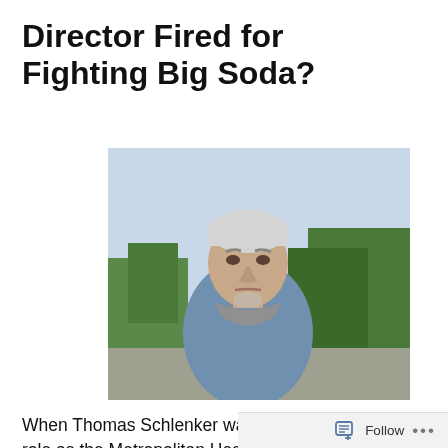Director Fired for Fighting Big Soda?
[Figure (photo): Photograph of Thomas Schlenker, a middle-aged man with white/gray hair, wearing a blue collared shirt, standing outdoors with trees and a road bridge visible in the background.]
When Thomas Schlenker was dismissed from his role as the Metropolitan Health District Director in San Antonio, Texas last July, the city said it was due to "unprofessional conduct." But Schlenker believes he was let go for fighting